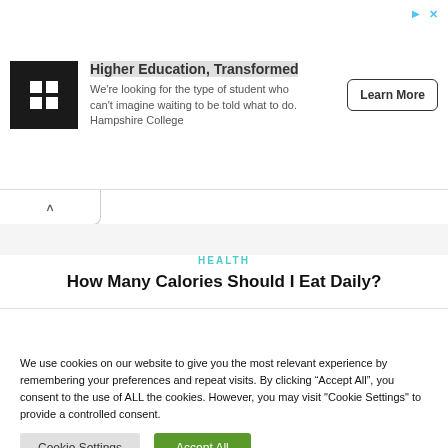[Figure (infographic): Advertisement banner for Hampshire College with logo, headline 'Higher Education, Transformed', description text, and Learn More button]
HEALTH
How Many Calories Should I Eat Daily?
We use cookies on our website to give you the most relevant experience by remembering your preferences and repeat visits. By clicking “Accept All”, you consent to the use of ALL the cookies. However, you may visit “Cookie Settings” to provide a controlled consent.